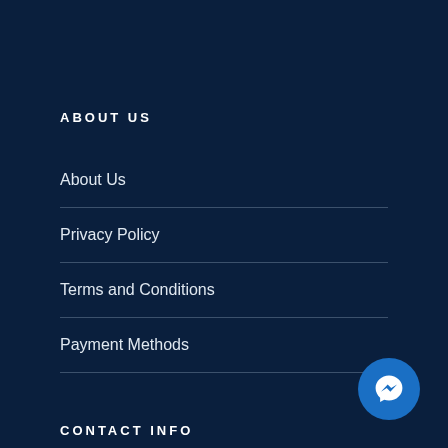ABOUT US
About Us
Privacy Policy
Terms and Conditions
Payment Methods
CONTACT INFO
Call us:
[Figure (illustration): Facebook Messenger chat button icon, circular dark blue button with white messenger lightning bolt logo]